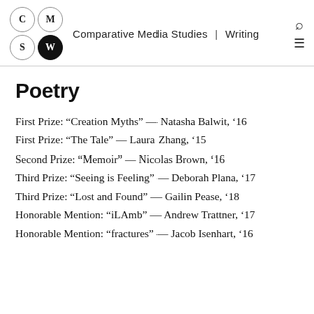Comparative Media Studies | Writing
Poetry
First Prize: “Creation Myths” — Natasha Balwit, ’16
First Prize: “The Tale” — Laura Zhang, ’15
Second Prize: “Memoir” — Nicolas Brown, ’16
Third Prize: “Seeing is Feeling” — Deborah Plana, ’17
Third Prize: “Lost and Found” — Gailin Pease, ’18
Honorable Mention: “iLAmb” — Andrew Trattner, ’17
Honorable Mention: “fractures” — Jacob Isenhart, ’16